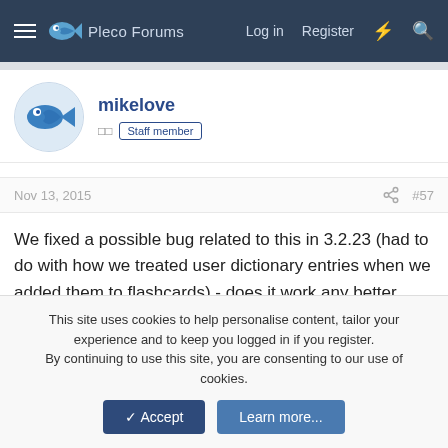Pleco Forums — Log in  Register
mikelove
□□  Staff member
Nov 13, 2015  #57
We fixed a possible bug related to this in 3.2.23 (had to do with how we treated user dictionary entries when we added them to flashcards) - does it work any better now?
Abun
□□
This site uses cookies to help personalise content, tailor your experience and to keep you logged in if you register.
By continuing to use this site, you are consenting to our use of cookies.
✓ Accept    Learn more...